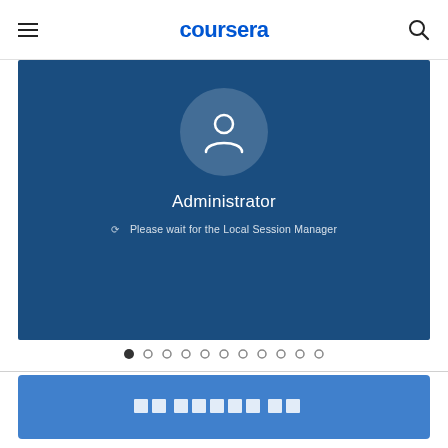coursera
[Figure (screenshot): Windows login screen showing Administrator account with circular user icon and text 'Please wait for the Local Session Manager' on a dark blue background]
● ○ ○ ○ ○ ○ ○ ○ ○ ○ ○
[Figure (other): Blue button with white text characters (unreadable/encoded text)]